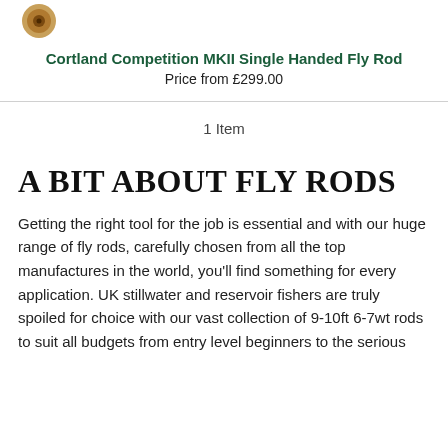[Figure (photo): Small image of a fly rod reel/handle, brown/amber color]
Cortland Competition MKII Single Handed Fly Rod
Price from £299.00
1 Item
A BIT ABOUT FLY RODS
Getting the right tool for the job is essential and with our huge range of fly rods, carefully chosen from all the top manufactures in the world, you'll find something for every application. UK stillwater and reservoir fishers are truly spoiled for choice with our vast collection of 9-10ft 6-7wt rods to suit all budgets from entry level beginners to the serious